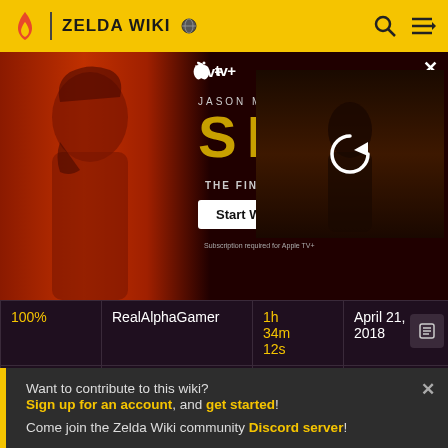ZELDA WIKI
[Figure (screenshot): Apple TV+ advertisement for 'SEE - The Final Chapter' starring Jason Momoa, with a 'Start Watching' button and a video thumbnail showing a person in a dark/fire scene with a reload icon overlay.]
| 100% | RealAlphaGamer | 1h 34m 12s | April 21, 2018 |
| Low% | RealAlphaGamer | 1h 52m 4s | April 20, 2018 |
Want to contribute to this wiki? Sign up for an account, and get started! Come join the Zelda Wiki community Discord server!